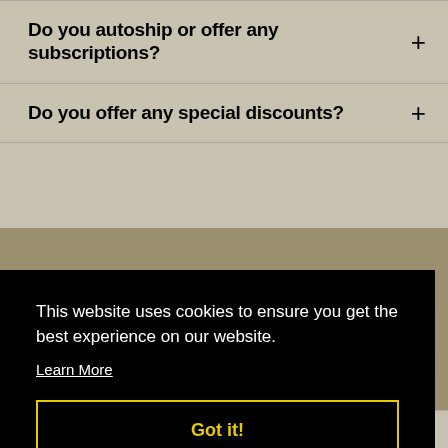Do you autoship or offer any subscriptions? +
Do you offer any special discounts? +
This website uses cookies to ensure you get the best experience on our website.
Learn More
Got it!
100% (8)